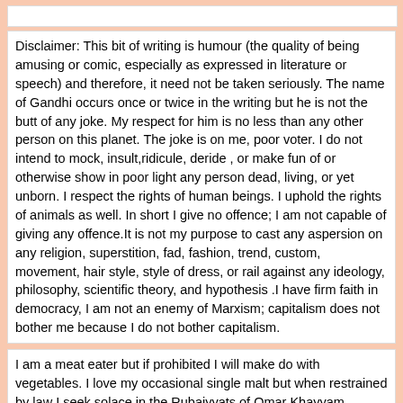Disclaimer: This bit of writing is humour (the quality of being amusing or comic, especially as expressed in literature or speech) and therefore, it need not be taken seriously. The name of Gandhi occurs once or twice in the writing but he is not the butt of any joke. My respect for him is no less than any other person on this planet. The joke is on me, poor voter. I do not intend to mock, insult,ridicule, deride , or make fun of or otherwise show in poor light any person dead, living, or yet unborn. I respect the rights of human beings. I uphold the rights of animals as well. In short I give no offence; I am not capable of giving any offence.It is not my purpose to cast any aspersion on any religion, superstition, fad, fashion, trend, custom, movement, hair style, style of dress, or rail against any ideology, philosophy, scientific theory, and hypothesis .I have firm faith in democracy, I am not an enemy of Marxism; capitalism does not bother me because I do not bother capitalism.
I am a meat eater but if prohibited I will make do with vegetables. I love my occasional single malt but when restrained by law I seek solace in the Rubaiyyats of Omar Khayyam, reading them aloud to myself to recreate the pleasures of the fabled elixir.I believe in universal peace and love yet I am not unduly affected if Syria is bombed or there is calm in Crimea. I live in peaceful co existence with crime syndicates, corporate fraudsters, buccaneering bureaucrats, and adulterate medicine against the cruel and...